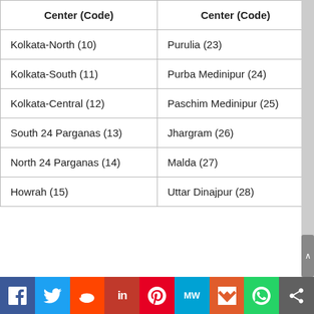| Center (Code) | Center (Code) |
| --- | --- |
| Kolkata-North (10) | Purulia (23) |
| Kolkata-South (11) | Purba Medinipur (24) |
| Kolkata-Central (12) | Paschim Medinipur (25) |
| South 24 Parganas (13) | Jhargram (26) |
| North 24 Parganas (14) | Malda (27) |
| Howrah (15) | Uttar Dinajpur (28) |